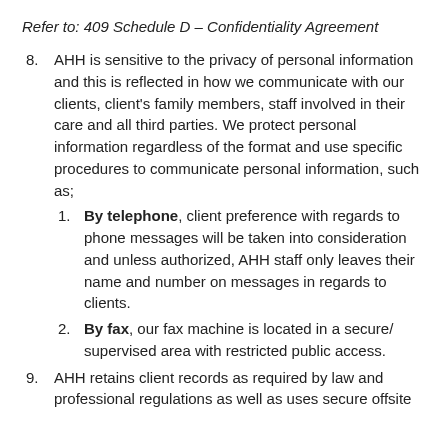Refer to: 409 Schedule D – Confidentiality Agreement
8. AHH is sensitive to the privacy of personal information and this is reflected in how we communicate with our clients, client's family members, staff involved in their care and all third parties. We protect personal information regardless of the format and use specific procedures to communicate personal information, such as;
1. By telephone, client preference with regards to phone messages will be taken into consideration and unless authorized, AHH staff only leaves their name and number on messages in regards to clients.
2. By fax, our fax machine is located in a secure/supervised area with restricted public access.
9. AHH retains client records as required by law and professional regulations as well as uses secure offsite